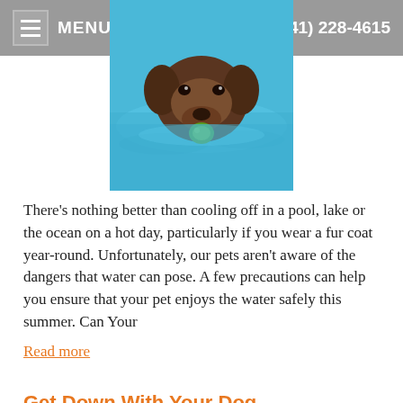MENU   (641) 228-4615
[Figure (photo): A dog swimming in a pool or body of water, viewed from above, holding a green object in its mouth. The water is blue.]
There's nothing better than cooling off in a pool, lake or the ocean on a hot day, particularly if you wear a fur coat year-round. Unfortunately, our pets aren't aware of the dangers that water can pose. A few precautions can help you ensure that your pet enjoys the water safely this summer. Can Your
Read more
Get Down With Your Dog
Category: Newsletter Library, Newsletter Archive, Fun with Pets
Each year fifteen million Americans engage in the practice of yoga. Many of the same Americans own some of the over seventy-three million dogs owned in the United States. If you put yoga and dogs together, you get doga (pronounced DOH-gah). Doga is